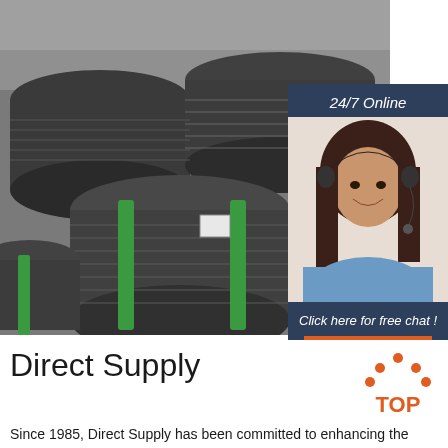[Figure (photo): Photo of large coils of black steel wire rod bundled with green straps, stacked in a warehouse or industrial facility.]
[Figure (photo): 24/7 Online chat widget with photo of smiling woman with headset, dark navy background, orange QUOTATION button.]
Direct Supply
[Figure (logo): TOP logo with orange dots arranged in triangle above the word TOP in orange on white background.]
Since 1985, Direct Supply has been committed to enhancing the lives of seniors and those who care